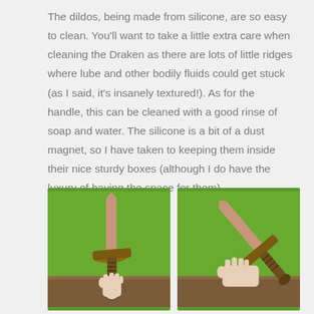The dildos, being made from silicone, are so easy to clean. You'll want to take a little extra care when cleaning the Draken as there are lots of little ridges where lube and other bodily fluids could get stuck (as I said, it's insanely textured!). As for the handle, this can be cleaned with a good rinse of soap and water. The silicone is a bit of a dust magnet, so I have taken to keeping them inside their nice sturdy boxes (although I do have the luxury of having the space for them).
[Figure (photo): Two photos side by side of fantasy-themed sword-shaped adult toys being held against a green background. Left image shows the toy held upright. Right image shows the toy held at an angle.]